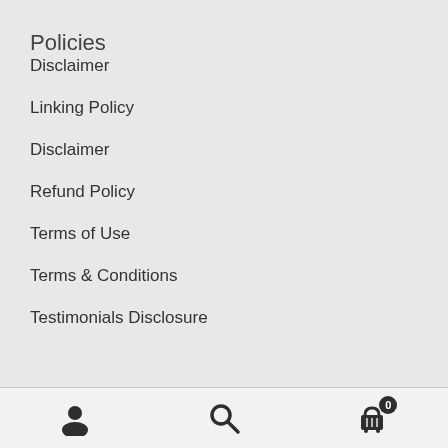Policies
Disclaimer
Linking Policy
Disclaimer
Refund Policy
Terms of Use
Terms & Conditions
Testimonials Disclosure
User icon | Search icon | Cart icon with badge 0